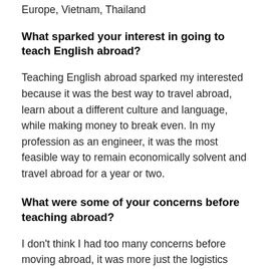Europe, Vietnam, Thailand
What sparked your interest in going to teach English abroad?
Teaching English abroad sparked my interested because it was the best way to travel abroad, learn about a different culture and language, while making money to break even. In my profession as an engineer, it was the most feasible way to remain economically solvent and travel abroad for a year or two.
What were some of your concerns before teaching abroad?
I don't think I had too many concerns before moving abroad, it was more just the logistics from The